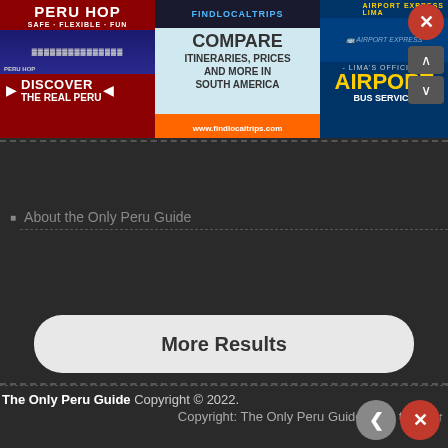[Figure (illustration): Three advertisement banners: Peru Hop (red, bus tour), FindLocalTrips (compare itineraries in South America), and Airport Express Lima (airport bus service)]
About the Only Peru Guide
More Results
The Only Peru Guide Copyright © 2022. Copyright: The Only Peru Guide Back to Top ↑